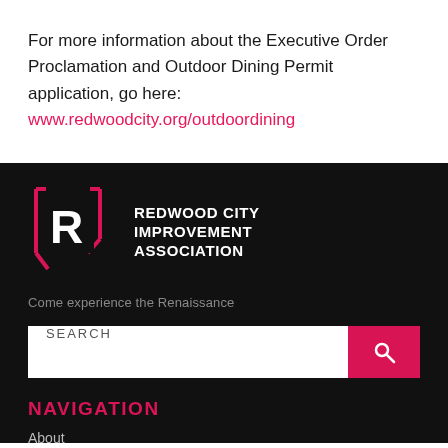For more information about the Executive Order Proclamation and Outdoor Dining Permit application, go here: www.redwoodcity.org/outdoordining
[Figure (logo): Redwood City Improvement Association logo — stylized R in a pink square bracket frame with text REDWOOD CITY IMPROVEMENT ASSOCIATION]
Come experience the Renaissance
SEARCH
NAVIGATION
About